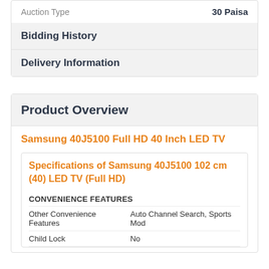| Auction Type | 30 Paisa |
| --- | --- |
Bidding History
Delivery Information
Product Overview
Samsung 40J5100 Full HD 40 Inch LED TV
Specifications of Samsung 40J5100 102 cm (40) LED TV (Full HD)
CONVENIENCE FEATURES
| Other Convenience Features | Auto Channel Search, Sports Mod |
| --- | --- |
| Child Lock | No |
| --- | --- |